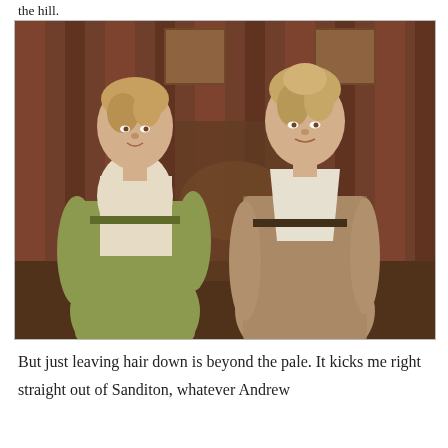the hill.
[Figure (photo): Two women in Regency-era costumes standing in a period interior room. The woman on the left wears a green and white empire-waist dress with her blonde hair up. The woman on the right wears a floral empire-waist dress with white bodice panel and her blonde hair up. Both appear to be in a scene from a period drama, likely Sanditon.]
But just leaving hair down is beyond the pale. It kicks me right straight out of Sanditon, whatever Andrew